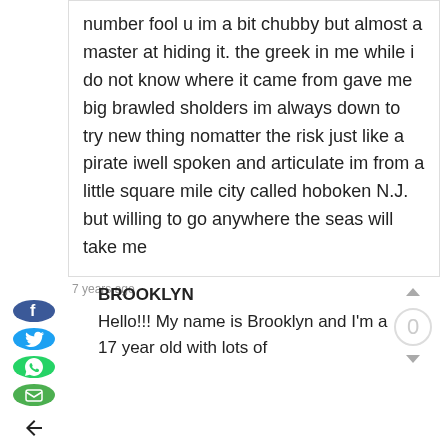number fool u im a bit chubby but almost a master at hiding it. the greek in me while i do not know where it came from gave me big brawled sholders im always down to try new thing nomatter the risk just like a pirate iwell spoken and articulate im from a little square mile city called hoboken N.J. but willing to go anywhere the seas will take me
7 years ago
BROOKLYN
Hello!!! My name is Brooklyn and I'm a 17 year old with lots of